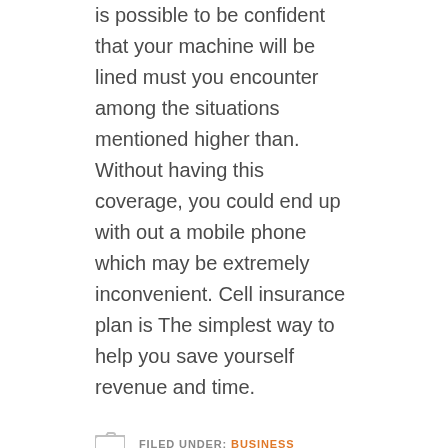is possible to be confident that your machine will be lined must you encounter among the situations mentioned higher than. Without having this coverage, you could end up with out a mobile phone which may be extremely inconvenient. Cell insurance plan is The simplest way to help you save yourself revenue and time.
FILED UNDER: BUSINESS
Situs Slot
idn poker